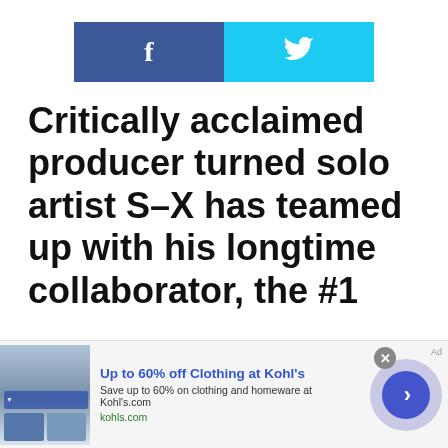[Figure (infographic): Social sharing buttons: Facebook (blue) and Twitter (light blue) side by side]
Critically acclaimed producer turned solo artist S-X has teamed up with his longtime collaborator, the #1
[Figure (infographic): Advertisement banner: Up to 60% off Clothing at Kohl's. Save up to 60% on clothing and homeware at Kohl's.com. kohls.com]